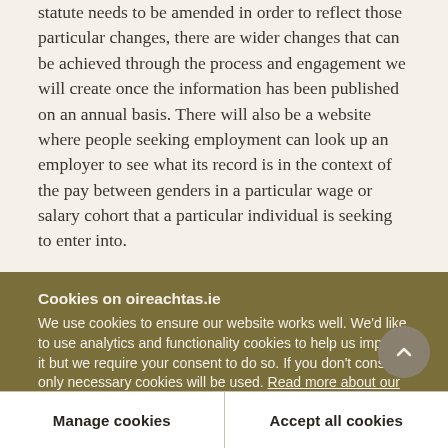statute needs to be amended in order to reflect those particular changes, there are wider changes that can be achieved through the process and engagement we will create once the information has been published on an annual basis. There will also be a website where people seeking employment can look up an employer to see what its record is in the context of the pay between genders in a particular wage or salary cohort that a particular individual is seeking to enter into.
Cookies on oireachtas.ie
We use cookies to ensure our website works well. We'd like to use analytics and functionality cookies to help us improve it but we require your consent to do so. If you don't consent, only necessary cookies will be used. Read more about our cookies